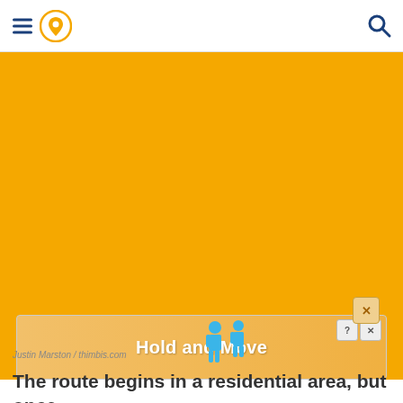Navigation app screenshot header with hamburger menu, location pin icon, and search icon
[Figure (screenshot): Orange background area representing a map or app screen with an advertisement overlay showing two blue 3D figures and text 'Hold and Move', with a close (X) button]
Justin Marston / thimbis.com
The route begins in a residential area, but once